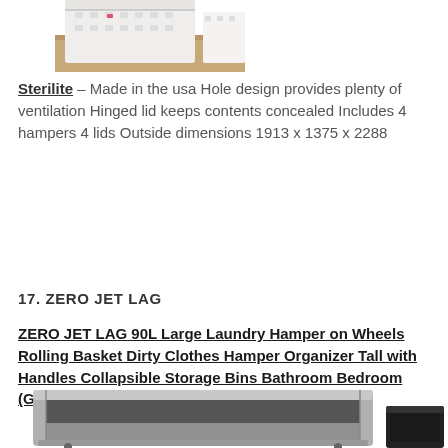[Figure (photo): White plastic laundry hamper basket on a wooden floor, partially visible at top of page]
Sterilite - Made in the usa Hole design provides plenty of ventilation Hinged lid keeps contents concealed Includes 4 hampers 4 lids Outside dimensions 1913 x 1375 x 2288
17. ZERO JET LAG
ZERO JET LAG 90L Large Laundry Hamper on Wheels Rolling Basket Dirty Clothes Hamper Organizer Tall with Handles Collapsible Storage Bins Bathroom Bedroom (Grey)
[Figure (photo): Grey collapsible large laundry hamper storage bin, open top view, with a smaller black hamper visible to the right]